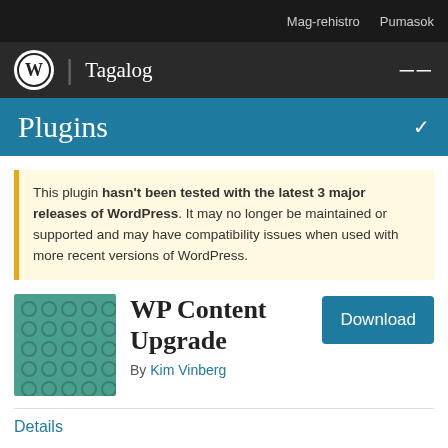Mag-rehistro  Pumasok
WordPress | Tagalog
Plugins
This plugin hasn't been tested with the latest 3 major releases of WordPress. It may no longer be maintained or supported and may have compatibility issues when used with more recent versions of WordPress.
[Figure (illustration): WP Content Upgrade plugin icon — teal/green square with circular dot pattern]
WP Content Upgrade
By Kim Vinberg
Download
Details